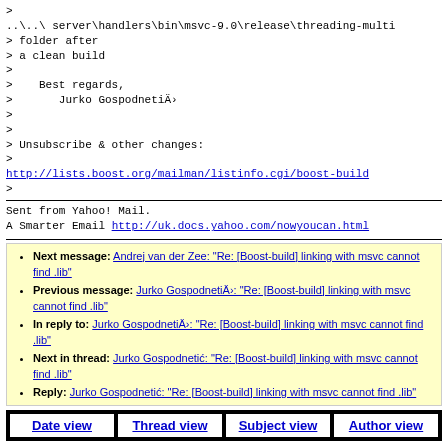>
..\..\server\handlers\bin\msvc-9.0\release\threading-multi
> folder after
> a clean build
>
>    Best regards,
>       Jurko GospodnetiÄ‡
>
>
> Unsubscribe & other changes:
>
http://lists.boost.org/mailman/listinfo.cgi/boost-build
>
Sent from Yahoo! Mail.
A Smarter Email http://uk.docs.yahoo.com/nowyoucan.html
Next message: Andrej van der Zee: "Re: [Boost-build] linking with msvc cannot find .lib"
Previous message: Jurko GospodnetiÄ‡: "Re: [Boost-build] linking with msvc cannot find .lib"
In reply to: Jurko GospodnetiÄ‡: "Re: [Boost-build] linking with msvc cannot find .lib"
Next in thread: Jurko Gospodnetić: "Re: [Boost-build] linking with msvc cannot find .lib"
Reply: Jurko Gospodnetić: "Re: [Boost-build] linking with msvc cannot find .lib"
Date view | Thread view | Subject view | Author view